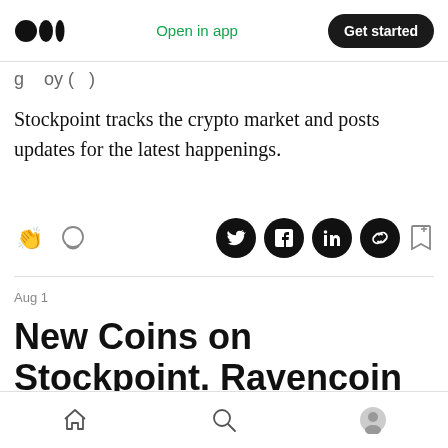Medium logo | Open in app | Get started
g   oy (  )
Stockpoint tracks the crypto market and posts updates for the latest happenings.
Aug 1
New Coins on Stockpoint. Ravencoin (RVN)